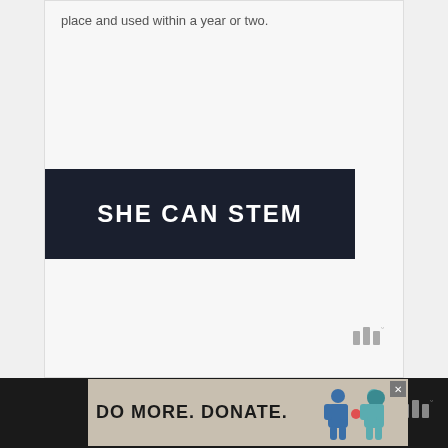place and used within a year or two.
[Figure (illustration): Dark banner with white bold text reading 'SHE CAN STEM']
[Figure (logo): Watermark logo with three vertical bars and a degree symbol]
[Figure (infographic): Bottom advertisement banner reading 'DO MORE. DONATE.' with illustrated figures of two people and a close button, on a tan/beige background]